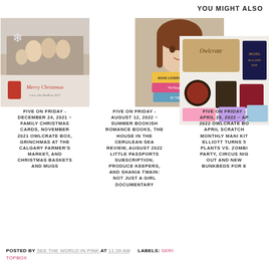YOU MIGHT ALSO
[Figure (photo): Family photo with Merry Christmas card, red decorations]
[Figure (photo): Woman holding a stack of colorful books including Book Lovers by Emily Henry]
[Figure (photo): Owlcrate box with Hotel Magnifique book and accessories]
FIVE ON FRIDAY - DECEMBER 24, 2021 ~ FAMILY CHRISTMAS CARDS, NOVEMBER 2021 OWLCRATE BOX, GRINCHMAS AT THE CALGARY FARMER'S MARKET, AND CHRISTMAS BASKETS AND MUGS
FIVE ON FRIDAY - AUGUST 12, 2022 ~ SUMMER BOOKISH ROMANCE BOOKS, THE HOUSE IN THE CERULEAN SEA REVIEW, AUGUST 2022 LITTLE PASSPORTS SUBSCRIPTION, PRODUCE KEEPERS, AND SHANIA TWAIN: NOT JUST A GIRL DOCUMENTARY
FIVE ON FRIDAY - APRIL 29, 2022 ~ AP 2022 OWLCRATE BO APRIL SCRATCH MONTHLY MANI KIT ELLIOTT TURNS 5 PLANTS VS. ZOMBI PARTY, CIRCUS NIG OUT AND NEW BUNKBEDS FOR E
POSTED BY SEE THE WORLD IN PINK AT 11:39 AM   LABELS: SERI TOPBOX